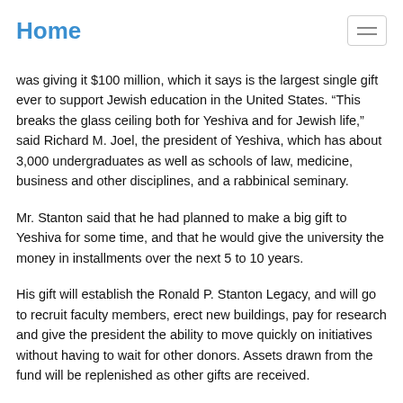Home
was giving it $100 million, which it says is the largest single gift ever to support Jewish education in the United States. “This breaks the glass ceiling both for Yeshiva and for Jewish life,” said Richard M. Joel, the president of Yeshiva, which has about 3,000 undergraduates as well as schools of law, medicine, business and other disciplines, and a rabbinical seminary.
Mr. Stanton said that he had planned to make a big gift to Yeshiva for some time, and that he would give the university the money in installments over the next 5 to 10 years.
His gift will establish the Ronald P. Stanton Legacy, and will go to recruit faculty members, erect new buildings, pay for research and give the president the ability to move quickly on initiatives without having to wait for other donors. Assets drawn from the fund will be replenished as other gifts are received.